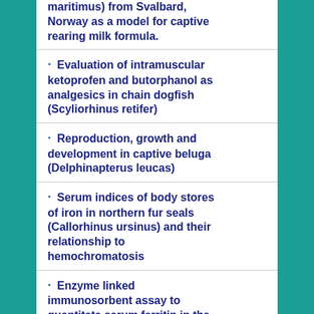maritimus) from Svalbard, Norway as a model for captive rearing milk formula.
Evaluation of intramuscular ketoprofen and butorphanol as analgesics in chain dogfish (Scyliorhinus retifer)
Reproduction, growth and development in captive beluga (Delphinapterus leucas)
Serum indices of body stores of iron in northern fur seals (Callorhinus ursinus) and their relationship to hemochromatosis
Enzyme linked immunosorbent assay to quantitate serum ferritin in the northern fur seal (Callorhinus ursinus)